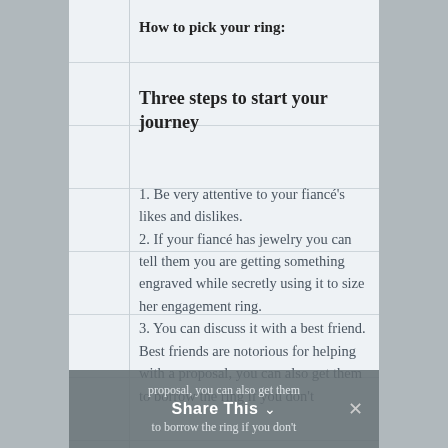How to pick your ring:
Three steps to start your journey
1. Be very attentive to your fiancé's likes and dislikes.
2. If your fiancé has jewelry you can tell them you are getting something engraved while secretly using it to size her engagement ring.
3. You can discuss it with a best friend. Best friends are notorious for helping with a proposal, you can also get them to borrow the ring if you don't
Share This ∨  ✕